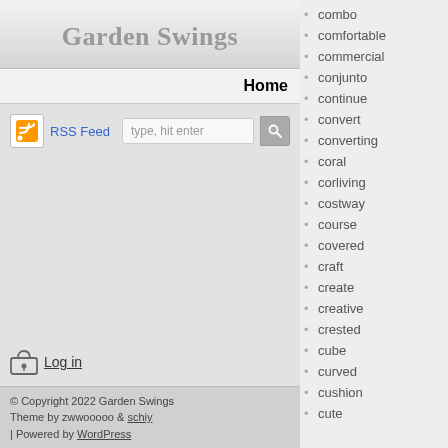Garden Swings
Home
RSS Feed  type, hit enter
Log in
© Copyright 2022 Garden Swings
Theme by zwwooooo & schiy
| Powered by WordPress
combo
comfortable
commercial
conjunto
continue
convert
converting
coral
corliving
costway
course
covered
craft
create
creative
crested
cube
curved
cushion
cute